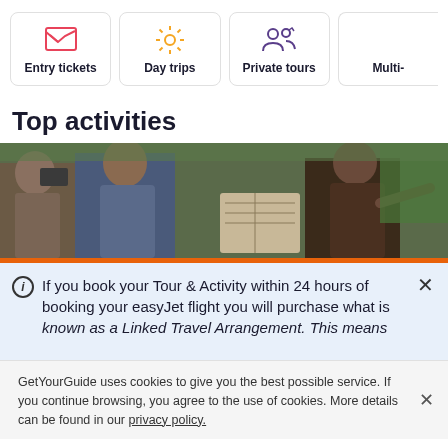[Figure (infographic): Row of category cards: Entry tickets (pink envelope icon), Day trips (yellow sun icon), Private tours (purple people icon), Multi- (partially visible card)]
Top activities
[Figure (photo): Tour guide with arm outstretched pointing, tourists looking at map outdoors in a garden/ruins setting]
If you book your Tour & Activity within 24 hours of booking your easyJet flight you will purchase what is known as a Linked Travel Arrangement. This means
GetYourGuide uses cookies to give you the best possible service. If you continue browsing, you agree to the use of cookies. More details can be found in our privacy policy.